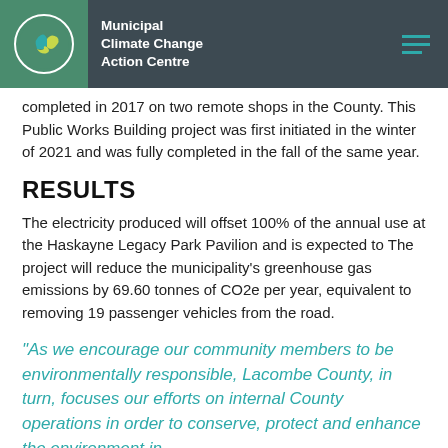Municipal Climate Change Action Centre
completed in 2017 on two remote shops in the County. This Public Works Building project was first initiated in the winter of 2021 and was fully completed in the fall of the same year.
RESULTS
The electricity produced will offset 100% of the annual use at the Haskayne Legacy Park Pavilion and is expected to The project will reduce the municipality’s greenhouse gas emissions by 69.60 tonnes of CO2e per year, equivalent to removing 19 passenger vehicles from the road.
“As we encourage our community members to be environmentally responsible, Lacombe County, in turn, focuses our efforts on internal County operations in order to conserve, protect and enhance the environment in